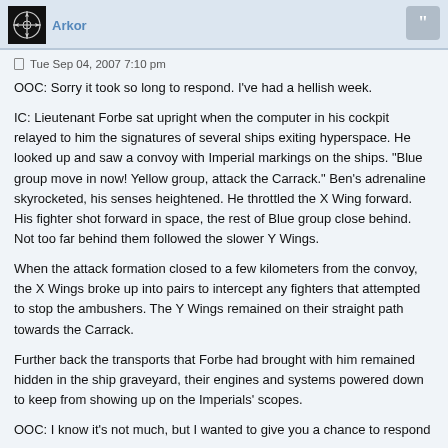Arkor
Tue Sep 04, 2007 7:10 pm
OOC: Sorry it took so long to respond. I've had a hellish week.
IC: Lieutenant Forbe sat upright when the computer in his cockpit relayed to him the signatures of several ships exiting hyperspace. He looked up and saw a convoy with Imperial markings on the ships. "Blue group move in now! Yellow group, attack the Carrack." Ben's adrenaline skyrocketed, his senses heightened. He throttled the X Wing forward. His fighter shot forward in space, the rest of Blue group close behind. Not too far behind them followed the slower Y Wings.
When the attack formation closed to a few kilometers from the convoy, the X Wings broke up into pairs to intercept any fighters that attempted to stop the ambushers. The Y Wings remained on their straight path towards the Carrack.
Further back the transports that Forbe had brought with him remained hidden in the ship graveyard, their engines and systems powered down to keep from showing up on the Imperials' scopes.
OOC: I know it's not much, but I wanted to give you a chance to respond